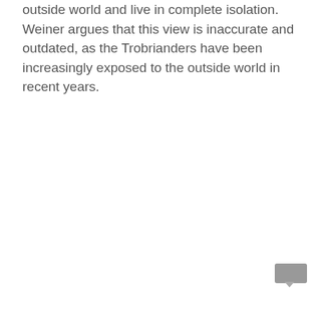outside world and live in complete isolation. Weiner argues that this view is inaccurate and outdated, as the Trobrianders have been increasingly exposed to the outside world in recent years.